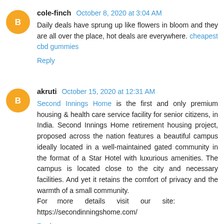cole-finch October 8, 2020 at 3:04 AM
Daily deals have sprung up like flowers in bloom and they are all over the place, hot deals are everywhere. cheapest cbd gummies
Reply
akruti October 15, 2020 at 12:31 AM
Second Innings Home is the first and only premium housing & health care service facility for senior citizens, in India. Second Innings Home retirement housing project, proposed across the nation features a beautiful campus ideally located in a well-maintained gated community in the format of a Star Hotel with luxurious amenities. The campus is located close to the city and necessary facilities. And yet it retains the comfort of privacy and the warmth of a small community.
For more details visit our site: https://secondinningshome.com/
Reply